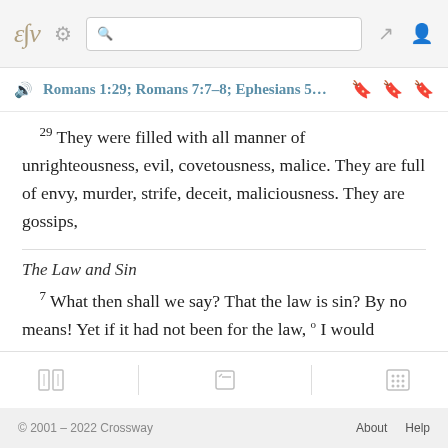ESV [logo] [gear] [search] [expand] [profile]
Romans 1:29; Romans 7:7–8; Ephesians 5…
29 They were filled with all manner of unrighteousness, evil, covetousness, malice. They are full of envy, murder, strife, deceit, maliciousness. They are gossips,
The Law and Sin
7 What then shall we say? That the law is sin? By no means! Yet if it had not been for the law, o I would
© 2001 – 2022 Crossway    About    Help